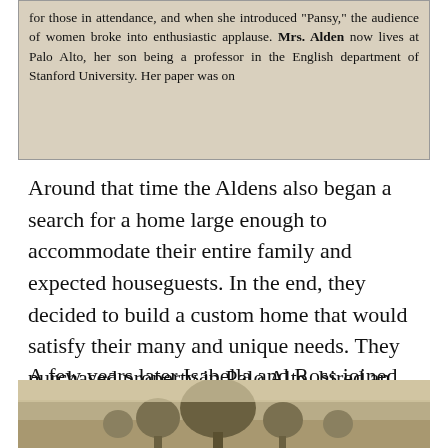[Figure (photo): Clipped newspaper text about Mrs. Alden introducing Pansy at a women's event, noting she lives at Palo Alto where her son is a professor in the English department of Stanford University.]
Around that time the Aldens also began a search for a home large enough to accommodate their entire family and expected houseguests. In the end, they decided to build a custom home that would satisfy their many and unique needs. They purchased property in Palo Alto, hired an architect, and began designing their dream home.
A few years later Isabella and Ross joined other Christians in attending the Mount Hermon Christian Camp when it opened in 1905.
[Figure (photo): Old sepia photograph showing trees, partially visible at the bottom of the page.]